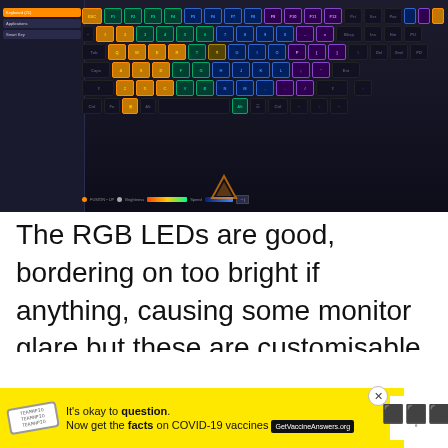[Figure (screenshot): Screenshot of an RGB keyboard configuration software (AORUS RGB Fusion or similar), showing a full keyboard layout with colorful backlit keys in orange, green, blue, and purple hues on a dark background. A sidebar with profile settings is visible on the left. At the bottom is a color gradient bar and playback controls. The AORUS logo is visible in the lower center.]
The RGB LEDs are good, bordering on too bright if anything, causing some monitor glare but these are customisable with the software, so you can switch them off when in the office or on a train! I normally switch the RGB to light up on keypress
[Figure (other): Social interaction buttons: a blue heart/like button with count 44, and a blue share button]
[Figure (other): Yellow advertisement banner: 'It's okay to question. Now get the facts on COVID-19 vaccines. GetVaccineAnswers.org' with a stamp graphic and close button]